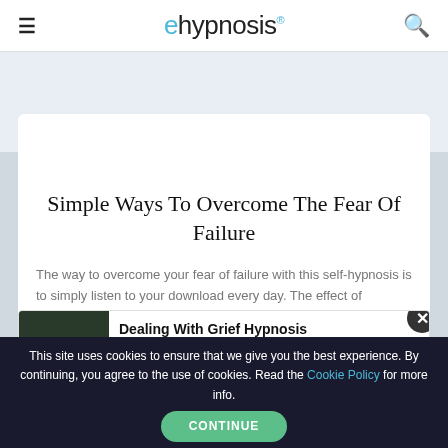ehypnosis®
Simple Ways To Overcome The Fear Of Failure
The way to overcome your fear of failure with this self-hypnosis is to simply listen to your download every day. The effect of hypnosis will differ from person to person.
[Figure (other): Dealing With Grief Hypnosis product popup with image, title, price ($9.95 TODAY ONLY), and buy button]
This site uses cookies to ensure that we give you the best experience. By continuing, you agree to the use of cookies. Read the Cookie Policy for more info.
CONTINUE